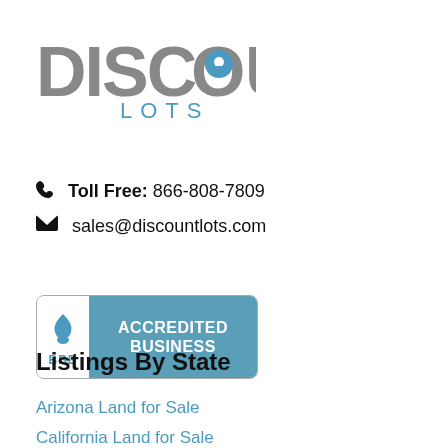[Figure (logo): Discount Lots logo with map pin icon replacing the O in DISCOUNT, text LOTS below in blue]
📞 Toll Free: 866-808-7809
✉ sales@discountlots.com
[Figure (logo): BBB Accredited Business badge with blue flame/torch logo on left white panel with BBB text, and ACCREDITED BUSINESS text on blue right panel]
Listings By State
Arizona Land for Sale
California Land for Sale